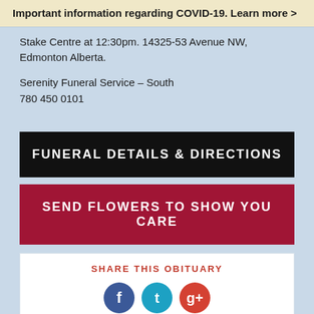Important information regarding COVID-19. Learn more >
Stake Centre at 12:30pm. 14325-53 Avenue NW, Edmonton Alberta.
Serenity Funeral Service – South
780 450 0101
FUNERAL DETAILS & DIRECTIONS
SEND FLOWERS TO SHOW YOU CARE
SHARE THIS OBITUARY